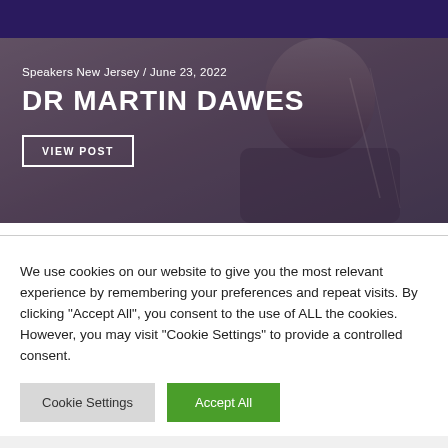[Figure (photo): A man wearing glasses and a suit with a stethoscope, smiling at the camera, overlaid with text about Dr Martin Dawes speaking at Speakers New Jersey on June 23, 2022, with a 'VIEW POST' button.]
Speakers New Jersey / June 23, 2022
DR MARTIN DAWES
VIEW POST
We use cookies on our website to give you the most relevant experience by remembering your preferences and repeat visits. By clicking "Accept All", you consent to the use of ALL the cookies. However, you may visit "Cookie Settings" to provide a controlled consent.
Cookie Settings
Accept All